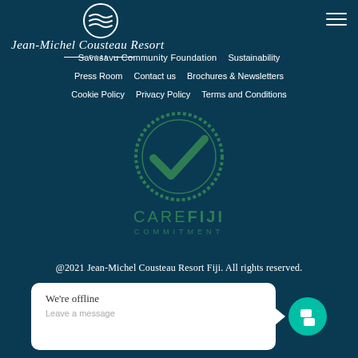[Figure (logo): Jean-Michel Cousteau Resort Fiji logo with circular wave emblem and italic text]
Savusavu Community Foundation   Sustainability   Press Room   Contact us   Brochures & Newsletters   Cookie Policy   Privacy Policy   Terms and Conditions
[Figure (logo): Care Fiji Commitment logo - green checkmark in circular badge above CAREFIJI COMMITMENT text]
@2021 Jean-Michel Cousteau Resort Fiji. All rights reserved.
[Figure (screenshot): Chat widget showing 'We're offline / Leave a message' with teal chat icon]